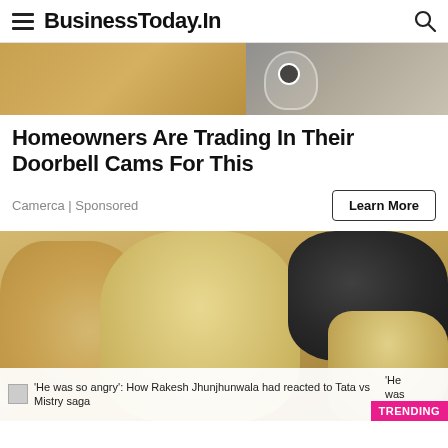BusinessToday.In
[Figure (photo): Top banner ad image showing a doorbell camera product, partially visible]
Homeowners Are Trading In Their Doorbell Cams For This
Camerca | Sponsored
[Figure (photo): Photo of several puppies huddled together, including light tan/cream colored puppies and a dark/black puppy]
'He was so angry': How Rakesh Jhunjhunwala had reacted to Tata vs Mistry saga
'He was s...
TRENDING